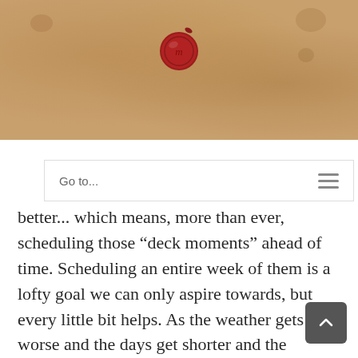[Figure (illustration): Aged parchment/kraft paper background banner with brown stains and spots, featuring a red wax seal centered near the top]
Go to...
better... which means, more than ever, scheduling those “deck moments” ahead of time. Scheduling an entire week of them is a lofty goal we can only aspire towards, but every little bit helps. As the weather gets worse and the days get shorter and the stresses mount and the case-counts and hospitalizations and ICU admission numbers all rise… find your deck – and visit it as often as you can.